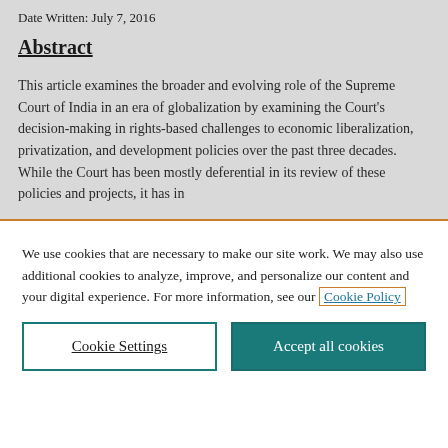Date Written: July 7, 2016
Abstract
This article examines the broader and evolving role of the Supreme Court of India in an era of globalization by examining the Court's decision-making in rights-based challenges to economic liberalization, privatization, and development policies over the past three decades. While the Court has been mostly deferential in its review of these policies and projects, it has in
We use cookies that are necessary to make our site work. We may also use additional cookies to analyze, improve, and personalize our content and your digital experience. For more information, see our Cookie Policy
Cookie Settings
Accept all cookies